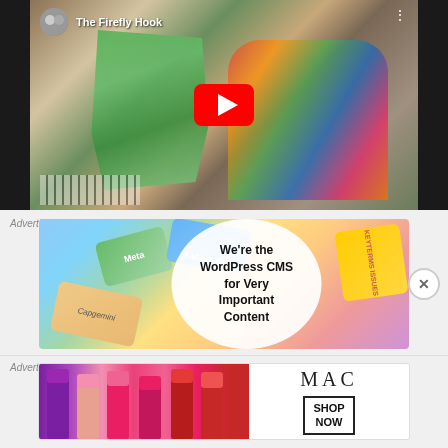[Figure (screenshot): YouTube video thumbnail showing 'The Firefly Hook' channel. A woman in a colorful floral wrap is holding up a green crocheted/knitted shawl. A circular channel avatar with two women is visible in the top left. A red YouTube play button overlay is centered on the image. Three vertical dots menu is in the top right corner.]
Advertisements
[Figure (screenshot): WordPress CMS advertisement showing colorful branded cards (Meta, Facebook, issues, Capgemini) arranged as overlapping tiles, with a white oval overlay containing the text 'We're the WordPress CMS for Very Important Content' in bold.]
Advertisements
[Figure (screenshot): MAC cosmetics advertisement showing lipsticks in purple, pink, and red shades on the left, the MAC logo in serif lettering in the center, and a 'SHOP NOW' box on the right.]